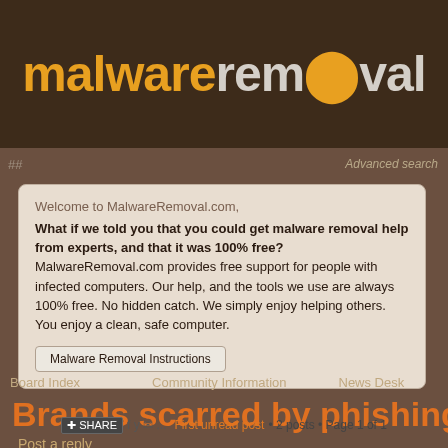malwareremoval
## Advanced search
Welcome to MalwareRemoval.com, What if we told you that you could get malware removal help from experts, and that it was 100% free? MalwareRemoval.com provides free support for people with infected computers. Our help, and the tools we use are always 100% free. No hidden catch. We simply enjoy helping others. You enjoy a clean, safe computer.
Malware Removal Instructions
Board Index   Community Information   News Desk
Brands scarred by phishing scams
Post a reply
SHARE   First unread post • 2 posts • Page 1 of 1